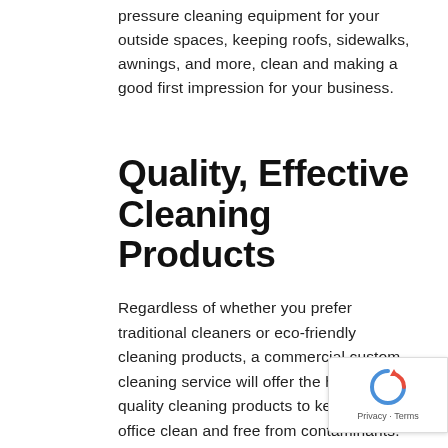pressure cleaning equipment for your outside spaces, keeping roofs, sidewalks, awnings, and more, clean and making a good first impression for your business.
Quality, Effective Cleaning Products
Regardless of whether you prefer traditional cleaners or eco-friendly cleaning products, a commercial custom cleaning service will offer the highest quality cleaning products to keep your office clean and free from contaminants. Your office will be cleaned properly with no damage due to harsh, unsafe chemical use.
Choosing Your Commercial Custom